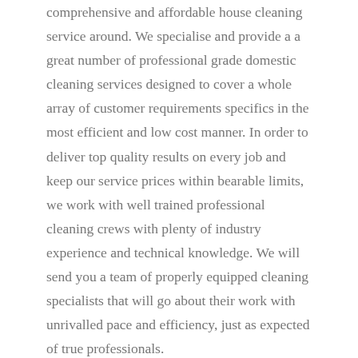comprehensive and affordable house cleaning service around. We specialise and provide a a great number of professional grade domestic cleaning services designed to cover a whole array of customer requirements specifics in the most efficient and low cost manner. In order to deliver top quality results on every job and keep our service prices within bearable limits, we work with well trained professional cleaning crews with plenty of industry experience and technical knowledge. We will send you a team of properly equipped cleaning specialists that will go about their work with unrivalled pace and efficiency, just as expected of true professionals.
Domestic Cleaning Fazakerley L9, L10 wishes to reduce the environmental toll of the cleaning industry, therefore we use minimum water waste policy and don't use any dangerous chemicals or other poisonous substances which is great news for both our customers and the planet. In terms of services, we got it all under one roof right here, from one off cleaning